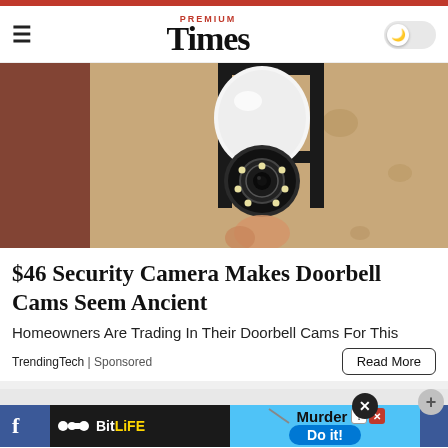PREMIUM Times
[Figure (photo): Security camera mounted on an outdoor wall lamp fixture against a stucco wall]
$46 Security Camera Makes Doorbell Cams Seem Ancient
Homeowners Are Trading In Their Doorbell Cams For This
TrendingTech | Sponsored
[Figure (screenshot): Advertisement banner: BitLife game ad with Murder Do it! text and social media strip]